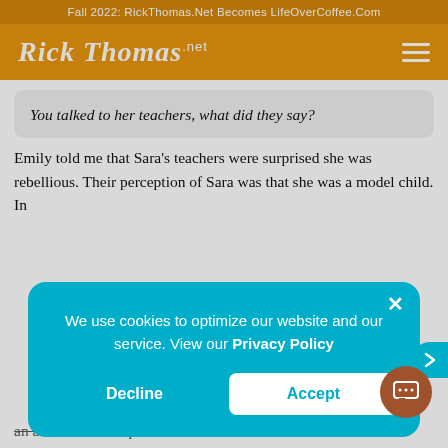Fall 2022: RickThomas.Net Becomes LifeOverCoffee.Com
[Figure (logo): Rick Thomas .net logo in white script on orange header with hamburger menu icon]
You talked to her teachers, what did they say?
Emily told me that Sara's teachers were surprised she was rebellious. Their perception of Sara was that she was a model child. In
We use cookies to optimize our website and our service. View our Privacy Policy
Decline
Accept
an academic example to all of her classmates.